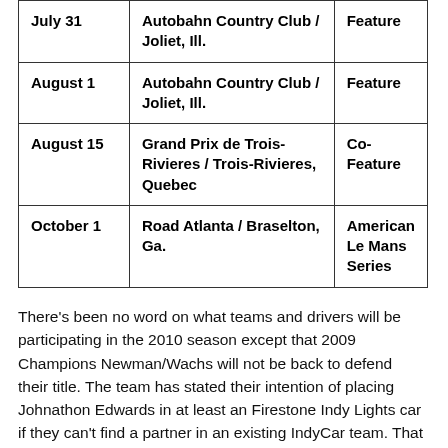| Date | Location | Event Type |
| --- | --- | --- |
| July 31 | Autobahn Country Club / Joliet, Ill. | Feature |
| August 1 | Autobahn Country Club / Joliet, Ill. | Feature |
| August 15 | Grand Prix de Trois-Rivieres / Trois-Rivieres, Quebec | Co-Feature |
| October 1 | Road Atlanta / Braselton, Ga. | American Le Mans Series |
There's been no word on what teams and drivers will be participating in the 2010 season except that 2009 Champions Newman/Wachs will not be back to defend their title. The team has stated their intention of placing Johnathon Edwards in at least an Firestone Indy Lights car if they can't find a partner in an existing IndyCar team. That immediately cuts the